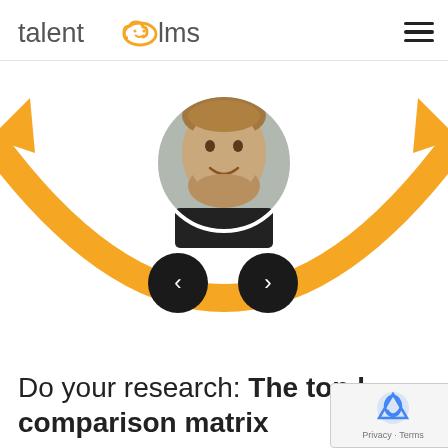talentlms
[Figure (illustration): Orange circular arrow/smile graphic with a circular profile photo of a man in the center, and two navigation chevron buttons (left and right) below]
Do your research: The top l… comparison matrix